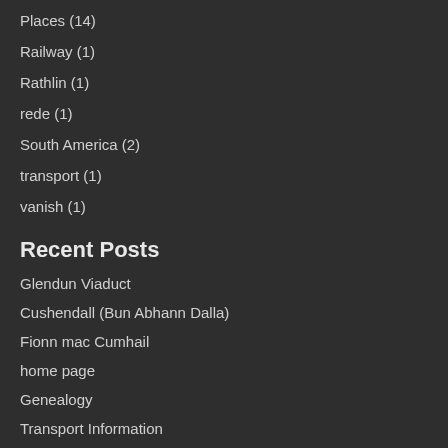Places (14)
Railway (1)
Rathlin (1)
rede (1)
South America (2)
transport (1)
vanish (1)
Recent Posts
Glendun Viaduct
Cushendall (Bun Abhann Dalla)
Fionn mac Cumhail
home page
Genealogy
Transport Information